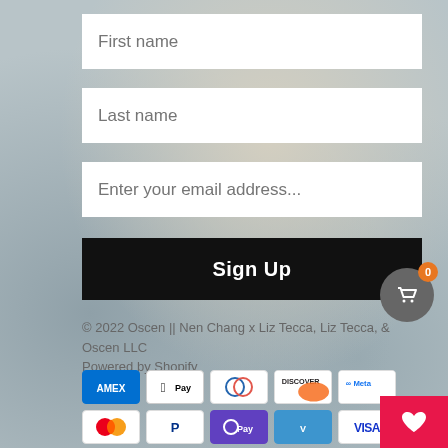[Figure (screenshot): Form field: First name input box]
[Figure (screenshot): Form field: Last name input box]
[Figure (screenshot): Form field: Enter your email address input box]
[Figure (screenshot): Sign Up button (black)]
© 2022 Oscen || Nen Chang x Liz Tecca, Liz Tecca, & Oscen LLC
Powered by Shopify
[Figure (screenshot): Payment icons row 1: American Express, Apple Pay, Diners Club, Discover, Meta Pay]
[Figure (screenshot): Payment icons row 2: Mastercard, PayPal, O Pay, Venmo, Visa]
[Figure (screenshot): Shopping cart button with badge showing 0]
[Figure (screenshot): Wishlist heart button (red)]